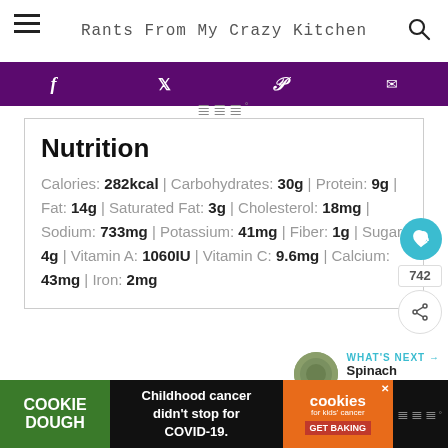Rants From My Crazy Kitchen
Nutrition
Calories: 282kcal | Carbohydrates: 30g | Protein: 9g | Fat: 14g | Saturated Fat: 3g | Cholesterol: 18mg | Sodium: 733mg | Potassium: 41mg | Fiber: 1g | Sugar: 4g | Vitamin A: 1060IU | Vitamin C: 9.6mg | Calcium: 43mg | Iron: 2mg
WHAT'S NEXT → Spinach Artichoke Dip
COOKIE DOUGH | Childhood cancer didn't stop for COVID-19. | cookies for kids' cancer GET BAKING